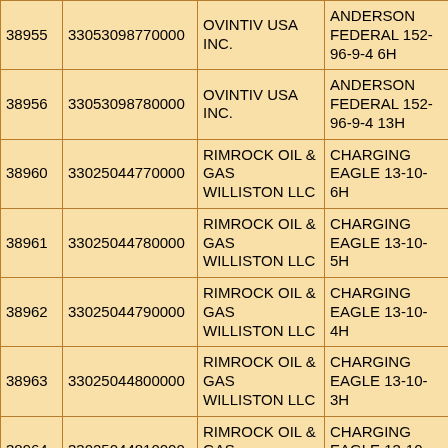| 38955 | 33053098770000 | OVINTIV USA INC. | ANDERSON FEDERAL 152-96-9-4 6H |
| 38956 | 33053098780000 | OVINTIV USA INC. | ANDERSON FEDERAL 152-96-9-4 13H |
| 38960 | 33025044770000 | RIMROCK OIL & GAS WILLISTON LLC | CHARGING EAGLE 13-10-6H |
| 38961 | 33025044780000 | RIMROCK OIL & GAS WILLISTON LLC | CHARGING EAGLE 13-10-5H |
| 38962 | 33025044790000 | RIMROCK OIL & GAS WILLISTON LLC | CHARGING EAGLE 13-10-4H |
| 38963 | 33025044800000 | RIMROCK OIL & GAS WILLISTON LLC | CHARGING EAGLE 13-10-3H |
| 38964 | 33025044810000 | RIMROCK OIL & GAS WILLISTON LLC | CHARGING EAGLE 13-10-2H |
| 38972 | 33025044820000 | SINCLAIR OIL & GAS COMPANY | Harris Federal 3-31H |